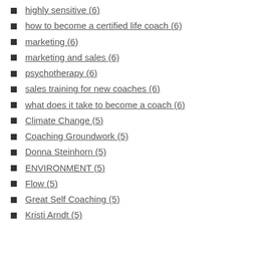highly sensitive (6)
how to become a certified life coach (6)
marketing (6)
marketing and sales (6)
psychotherapy (6)
sales training for new coaches (6)
what does it take to become a coach (6)
Climate Change (5)
Coaching Groundwork (5)
Donna Steinhorn (5)
ENVIRONMENT (5)
Flow (5)
Great Self Coaching (5)
Kristi Arndt (5)